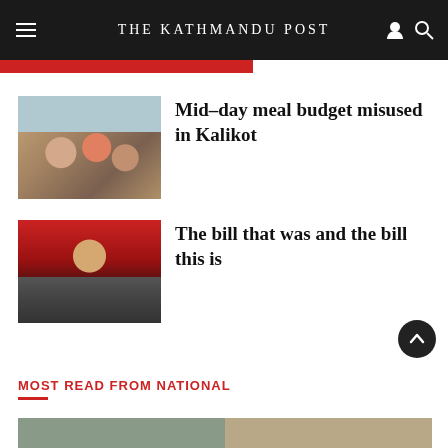THE KATHMANDU POST
[Figure (photo): Partial image strip at top with red color]
Mid-day meal budget misused in Kalikot
[Figure (photo): Children eating mid-day meal at school in Kalikot]
The bill that was and the bill this is
[Figure (photo): Person in official attire at podium with red curtain background]
MOST READ FROM NATIONAL
[Figure (photo): Partial bottom image strip for Most Read section]